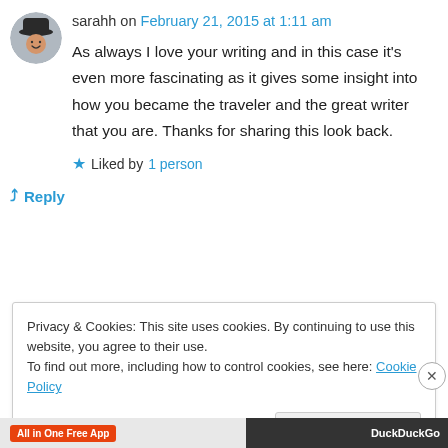sarahh on February 21, 2015 at 1:11 am
As always I love your writing and in this case it's even more fascinating as it gives some insight into how you became the traveler and the great writer that you are. Thanks for sharing this look back.
Liked by 1 person
Reply
Privacy & Cookies: This site uses cookies. By continuing to use this website, you agree to their use.
To find out more, including how to control cookies, see here: Cookie Policy
Close and accept